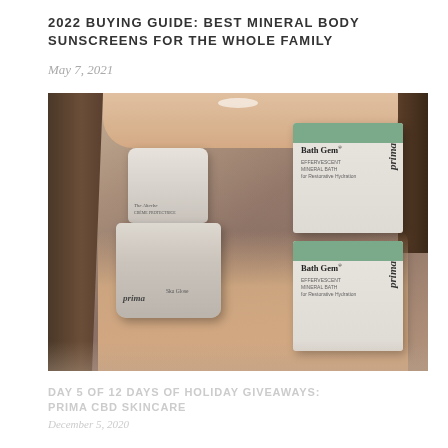2022 BUYING GUIDE: BEST MINERAL BODY SUNSCREENS FOR THE WHOLE FAMILY
May 7, 2021
[Figure (photo): A smiling woman with long hair holding Prima skincare products including 'The Afterbe' jar, 'Ska' jar, and two 'Bath Gem' boxes with green stripe branding from Prima CBD.]
DAY 5 OF 12 DAYS OF HOLIDAY GIVEAWAYS: PRIMA CBD SKINCARE
December 5, 2020